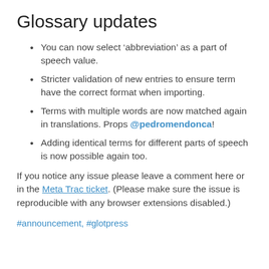Glossary updates
You can now select ‘abbreviation’ as a part of speech value.
Stricter validation of new entries to ensure term have the correct format when importing.
Terms with multiple words are now matched again in translations. Props @pedromendonca!
Adding identical terms for different parts of speech is now possible again too.
If you notice any issue please leave a comment here or in the Meta Trac ticket. (Please make sure the issue is reproducible with any browser extensions disabled.)
#announcement, #glotpress